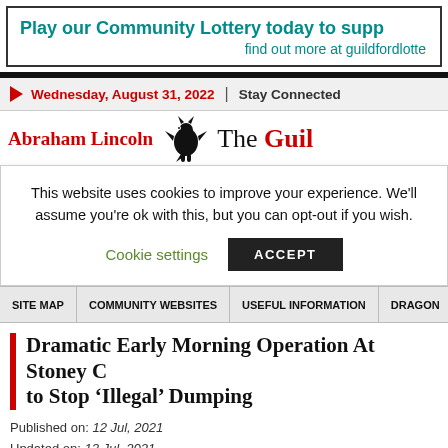[Figure (other): Community Lottery banner advertisement: 'Play our Community Lottery today to supp... find out more at guildfordlotte...' in teal/green bold text]
Wednesday, August 31, 2022 | Stay Connected
[Figure (logo): Abraham Lincoln dragon logo with 'The Guil...' masthead in serif font, red text 'Abraham Lincoln']
This website uses cookies to improve your experience. We'll assume you're ok with this, but you can opt-out if you wish.
Cookie settings  ACCEPT
SITE MAP   COMMUNITY WEBSITES   USEFUL INFORMATION   DRAGON...
Dramatic Early Morning Operation At Stoney C... to Stop ‘Illegal’ Dumping
Published on: 12 Jul, 2021
Updated on: 13 Jul, 2021